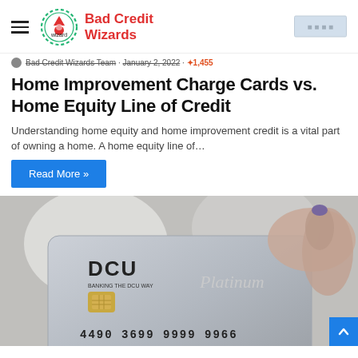Bad Credit Wizards
Bad Credit Wizards Team · January 2, 2022 · 1,455 views
Home Improvement Charge Cards vs. Home Equity Line of Credit
Understanding home equity and home improvement credit is a vital part of owning a home. A home equity line of…
Read More »
[Figure (photo): A hand with purple nail polish holding a DCU Platinum credit card showing card number 4490 3699 9999 9966, expiry 02/19, cardholder JOAN CARDINAL]